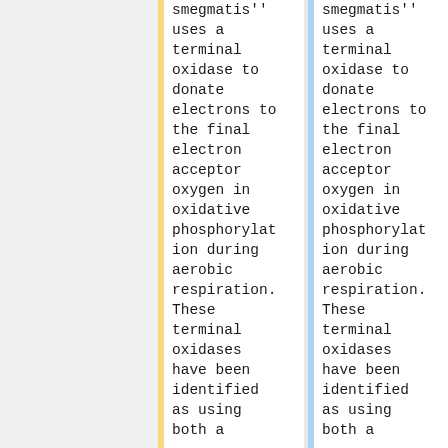smegmatis'' uses a terminal oxidase to donate electrons to the final electron acceptor oxygen in oxidative phosphorylation during aerobic respiration. These terminal oxidases have been identified as using both a
smegmatis'' uses a terminal oxidase to donate electrons to the final electron acceptor oxygen in oxidative phosphorylation during aerobic respiration. These terminal oxidases have been identified as using both a